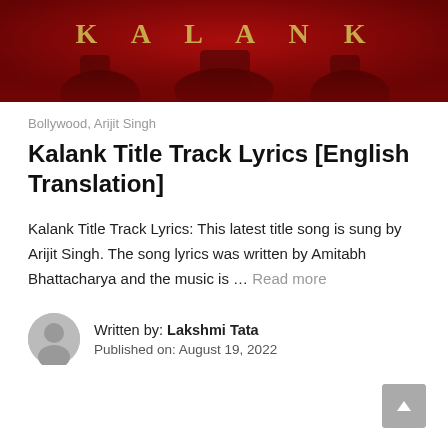[Figure (photo): Movie poster for Kalank showing the title 'KALANK' in gold letters on a dark red background with figures in red]
Bollywood, Arijit Singh
Kalank Title Track Lyrics [English Translation]
Kalank Title Track Lyrics: This latest title song is sung by Arijit Singh. The song lyrics was written by Amitabh Bhattacharya and the music is … Read more
Written by: Lakshmi Tata
Published on: August 19, 2022